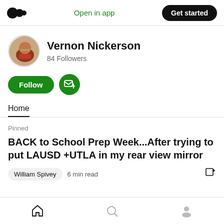Open in app  Get started
[Figure (photo): Medium logo (three circles) in top left]
Vernon Nickerson
84 Followers
Follow  [subscribe button]
Home
Pinned
BACK to School Prep Week...After trying to put LAUSD +UTLA in my rear view mirror
William Spivey  6 min read
[home icon]  [search icon]  [profile icon]